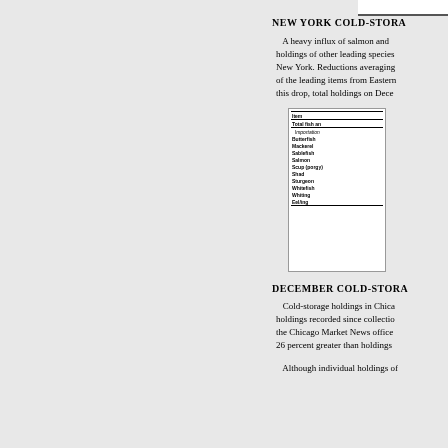NEW YORK COLD-STORA...
A heavy influx of salmon and holdings of other leading species New York. Reductions averaging of the leading items from Eastern this drop, total holdings on Dece
[Figure (table-as-image): Small table thumbnail showing fish cold-storage holdings data with items including: Total fish and..., Importation, Butterfish, Mackerel, Sablefish, Salmon, Scup (porgy), Shad, Sturgeon, Whitefish, Whiting, Eel/ing]
DECEMBER COLD-STORA...
Cold-storage holdings in Chica holdings recorded since collectio the Chicago Market News office 26 percent greater than holdings
Although individual holdings of